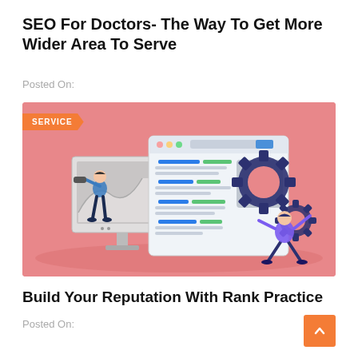SEO For Doctors- The Way To Get More Wider Area To Serve
Posted On:
[Figure (illustration): An illustration on a pink/salmon background showing a person looking through a telescope next to a desktop monitor displaying a graph, a browser window with content blocks and text lines in green and blue, a gray image placeholder, and a person pushing large dark blue gear cogs. An orange 'SERVICE' badge is in the top left corner.]
Build Your Reputation With Rank Practice
Posted On: